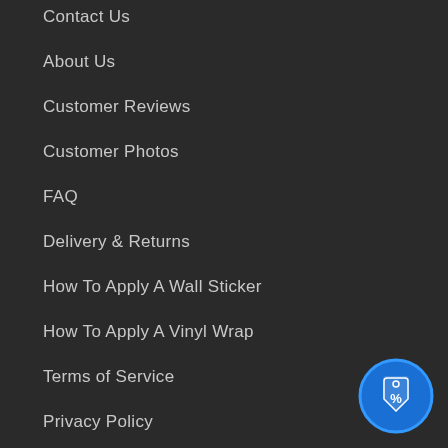Contact Us
About Us
Customer Reviews
Customer Photos
FAQ
Delivery & Returns
How To Apply A Wall Sticker
How To Apply A Vinyl Wrap
Terms of Service
Privacy Policy
[Figure (illustration): Blue circular badge with a price tag icon showing a percentage symbol]